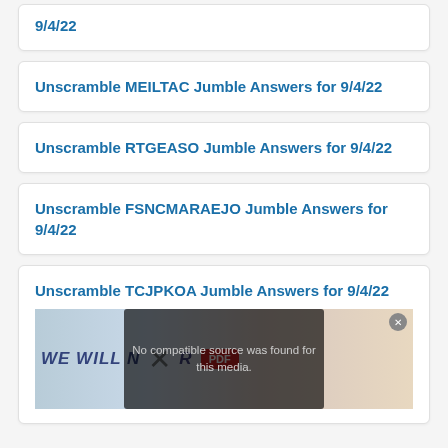9/4/22
Unscramble MEILTAC Jumble Answers for 9/4/22
Unscramble RTGEASO Jumble Answers for 9/4/22
Unscramble FSNCMARAEJO Jumble Answers for 9/4/22
Unscramble TCJPKOA Jumble Answers for 9/4/22
[Figure (screenshot): Video player overlay showing 'No compatible source was found for this media.' with a banner image below showing protest imagery with text 'WE WILL N...R' and a PDF badge, plus a close button.]